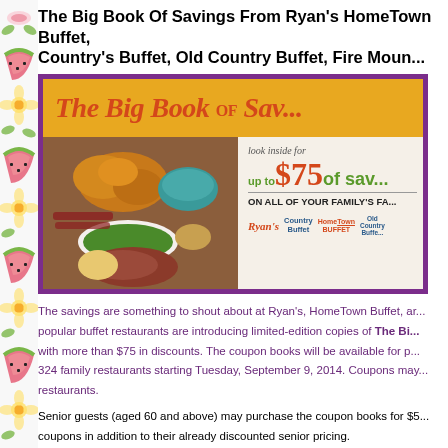The Big Book Of Savings From Ryan's HomeTown Buffet, Country's Buffet, Old Country Buffet, Fire Moun...
[Figure (photo): Promotional image for 'The Big Book of Savings' showing food photos on the left and discount text on the right, including 'up to $75 of savings on all of your family's favorites', with logos for Ryan's, Country Buffet, HomeTown Buffet, and Old Country Buffet on a gold/yellow banner background with a purple border.]
The savings are something to shout about at Ryan's, HomeTown Buffet, and other popular buffet restaurants are introducing limited-edition copies of The Big Book... with more than $75 in discounts. The coupon books will be available for p... 324 family restaurants starting Tuesday, September 9, 2014. Coupons may... restaurants.
Senior guests (aged 60 and above) may purchase the coupon books for $5... coupons in addition to their already discounted senior pricing.
Each coupon booklet features 25 coupons. Offers include discounts on bre... feature BOGOs, "Two Can Dine" offers, specially discounted meal pricing...